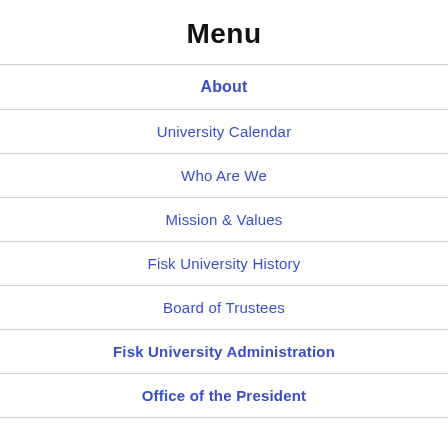Menu
About
University Calendar
Who Are We
Mission & Values
Fisk University History
Board of Trustees
Fisk University Administration
Office of the President